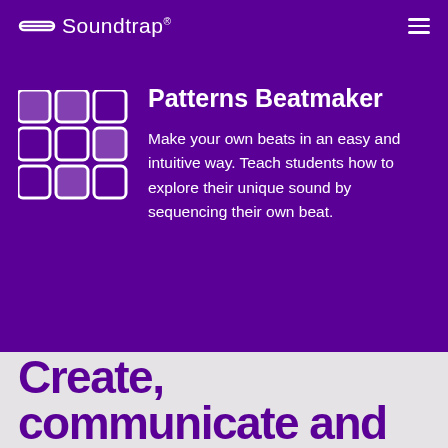(—) Soundtrap
Patterns Beatmaker
Make your own beats in an easy and intuitive way. Teach students how to explore their unique sound by sequencing their own beat.
Create, communicate and